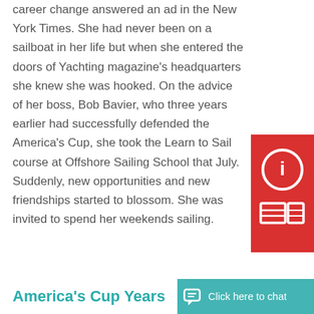career change answered an ad in the New York Times. She had never been on a sailboat in her life but when she entered the doors of Yachting magazine's headquarters she knew she was hooked. On the advice of her boss, Bob Bavier, who three years earlier had successfully defended the America's Cup, she took the Learn to Sail course at Offshore Sailing School that July. Suddenly, new opportunities and new friendships started to blossom. She was invited to spend her weekends sailing.
[Figure (infographic): Red sidebar with info icon (circle with 'i') and newspaper/document icon]
America's Cup Years
[Figure (infographic): Teal chat bar with chat bubble icon and 'Click here to chat' text]